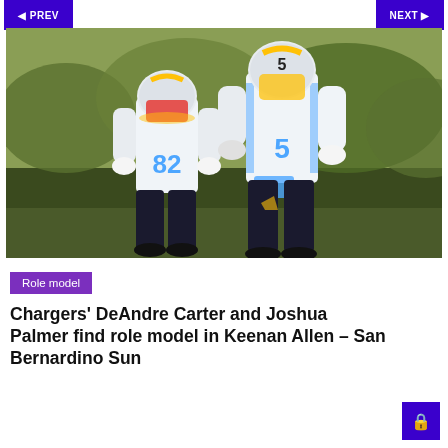PREV | NEXT
[Figure (photo): Two Los Angeles Chargers players in white jerseys with numbers 82 and 5, wearing white and gold helmets, standing on a practice field with green trees in the background.]
Role model
Chargers' DeAndre Carter and Joshua Palmer find role model in Keenan Allen – San Bernardino Sun